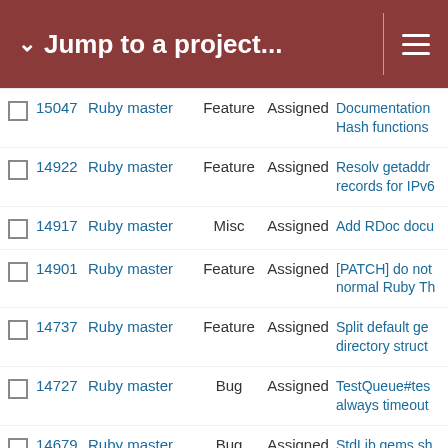Jump to a project...
|  | # | Project | Tracker | Status | Subject |
| --- | --- | --- | --- | --- | --- |
|  | 15047 | Ruby master | Feature | Assigned | Documentation Hash functions |
|  | 14922 | Ruby master | Feature | Assigned | Resolv getaddr records for IPv6 |
|  | 14917 | Ruby master | Misc | Assigned | Add RDoc docu |
|  | 14901 | Ruby master | Feature | Assigned | [PATCH] do not normal Ruby Th |
|  | 14737 | Ruby master | Feature | Assigned | Split default ge directory struc |
|  | 14727 | Ruby master | Bug | Assigned | TestQueue#tes always timeout |
|  | 14679 | Ruby master | Bug | Assigned | StdLib gems sh their dependen |
|  | 14607 | Ruby master | Bug | Assigned | Fix use of the r parameter |
|  | 14543 | Ruby master | Bug | Assigned | `make commit` `common-srcs` |
|  | 14476 | Ruby master | Feature | Assigned | Adding same_a whether all ite same |